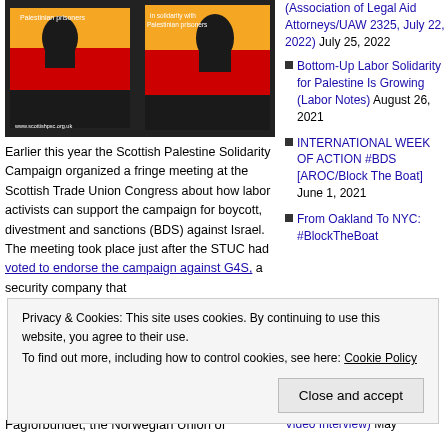[Figure (photo): Photo of two protest posters reading 'in solidarity with Palestinian prisoners' with raised fist graphic, from scottishpsc.org.uk]
Earlier this year the Scottish Palestine Solidarity Campaign organized a fringe meeting at the Scottish Trade Union Congress about how labor activists can support the campaign for boycott, divestment and sanctions (BDS) against Israel. The meeting took place just after the STUC had voted to endorse the campaign against G4S, a security company that
(Association of Legal Aid Attorneys/UAW 2325, July 22, 2022) July 25, 2022
Bottom-Up Labor Solidarity for Palestine Is Growing (Labor Notes) August 26, 2021
INTERNATIONAL WEEK OF ACTION #BDS [AROC/Block The Boat] June 1, 2021
From Oakland To NYC: #BlockTheBoat
Privacy & Cookies: This site uses cookies. By continuing to use this website, you agree to their use.
To find out more, including how to control cookies, see here: Cookie Policy
Close and accept
Video Interview) May
Fagforbundet, the Norwegian Union of